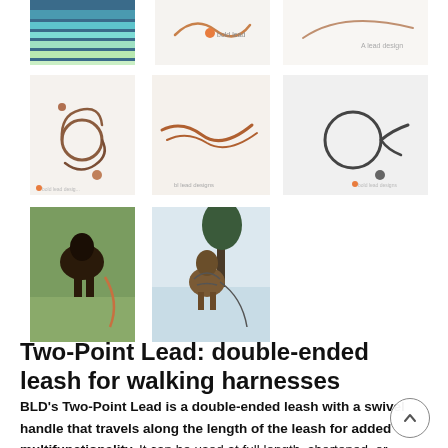[Figure (photo): Grid of product and lifestyle photos showing dog leashes and dogs wearing harnesses. Top row: colorful striped fabric, a leash product shot, a leash design sketch. Middle row: three leash product photos in brown/black leather cordage. Bottom row: a dog in a field with a leash, a dog sitting in snow with harness.]
Two-Point Lead: double-ended leash for walking harnesses
BLD's Two-Point Lead is a double-ended leash with a swivel handle that travels along the length of the leash for added multifunctionality. It can be used at full length, shortened, or clipped to both attachment points on the